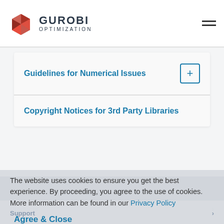Gurobi Optimization
Guidelines for Numerical Issues
Copyright Notices for 3rd Party Libraries
The website uses cookies to ensure you get the best experience. By proceeding, you agree to the use of cookies. More information can be found in our Privacy Policy
Agree & Close
Products
Documentation
Support